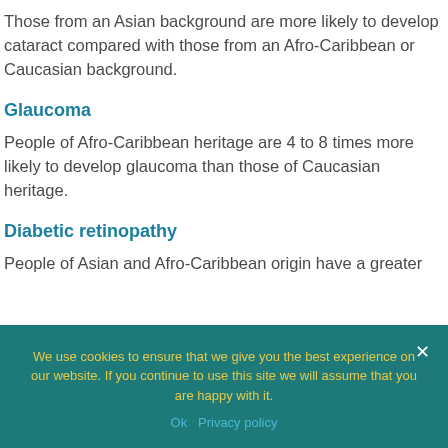Those from an Asian background are more likely to develop cataract compared with those from an Afro-Caribbean or Caucasian background.
Glaucoma
People of Afro-Caribbean heritage are 4 to 8 times more likely to develop glaucoma than those of Caucasian heritage.
Diabetic retinopathy
People of Asian and Afro-Caribbean origin have a greater...
We use cookies to ensure that we give you the best experience on our website. If you continue to use this site we will assume that you are happy with it.